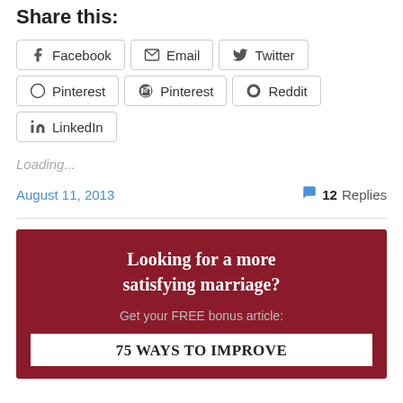Share this:
Facebook  Email  Twitter  Pinterest  Reddit  LinkedIn
Loading...
August 11, 2013    12 Replies
[Figure (infographic): Dark red promotional box with text: 'Looking for a more satisfying marriage? Get your FREE bonus article: 75 WAYS TO IMPROVE']